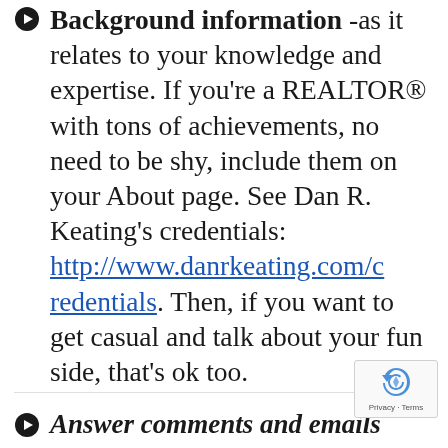Background information -as it relates to your knowledge and expertise. If you're a REALTOR® with tons of achievements, no need to be shy, include them on your About page. See Dan R. Keating's credentials: http://www.danrkeating.com/credentials. Then, if you want to get casual and talk about your fun side, that's ok too.
Answer comments and emails